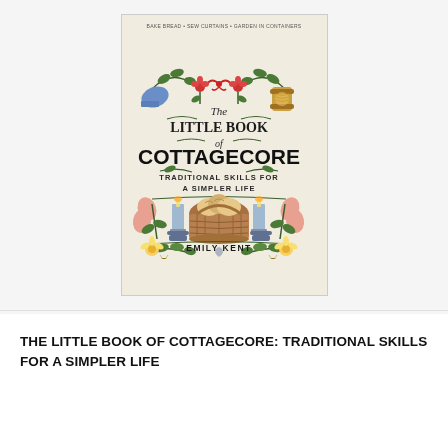[Figure (illustration): Book cover of 'The Little Book of Cottagecore: Traditional Skills for a Simpler Life' by Emily Kent. Light cream/beige background with illustrated botanical motifs, candles, a bread basket, flowers, gloves, thread spool, and bees surrounding the title. Author name at bottom.]
THE LITTLE BOOK OF COTTAGECORE: TRADITIONAL SKILLS FOR A SIMPLER LIFE